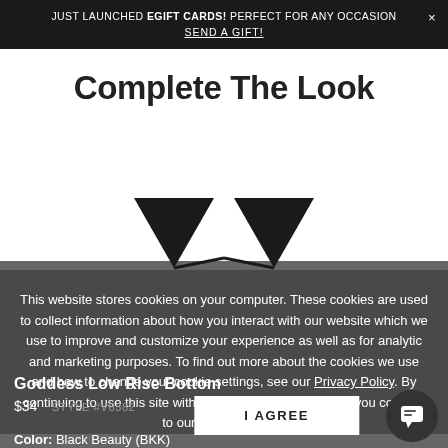JUST LAUNCHED EGIFT CARDS! PERFECT FOR ANY OCCASION × SEND A GIFT!
Complete The Look
[Figure (photo): Black bikini bottom triangle product image on gray background]
This website stores cookies on your computer. These cookies are used to collect information about how you interact with our website which we use to improve and customize your experience as well as for analytic and marketing purposes. To find out more about the cookies we use and how to change your cookie settings, see our Privacy Policy. By continuing to use this site without changing your settings, you consent to our use of cookies.
Goddess Low Rise Bottom
$34  STYLE #V6382
Color: Black Beauty (BKK)